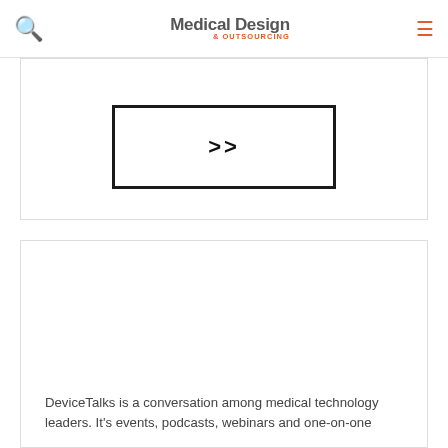Medical Design & Outsourcing
[Figure (screenshot): Partial view of a box/button with double arrow '>>' symbol inside a thick border rectangle]
[Figure (screenshot): Large white card area with text at bottom: DeviceTalks is a conversation among medical technology leaders. It's events, podcasts, webinars and one-on-one]
DeviceTalks is a conversation among medical technology leaders. It's events, podcasts, webinars and one-on-one